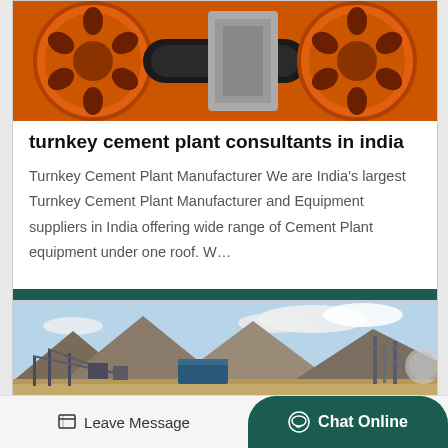[Figure (photo): Close-up photo of orange industrial machinery parts, showing large orange mechanical wheels/pulleys with circular holes and a rubber belt/conveyor component.]
turnkey cement plant consultants in india
Turnkey Cement Plant Manufacturer We are India's largest Turnkey Cement Plant Manufacturer and Equipment suppliers in India offering wide range of Cement Plant equipment under one roof. W…
Read More
[Figure (photo): Outdoor photo of industrial plant or mining site with conveyor structures, pylons, mountains in background, blue sky with clouds, and a large blue container or structure.]
Leave Message   Chat Online